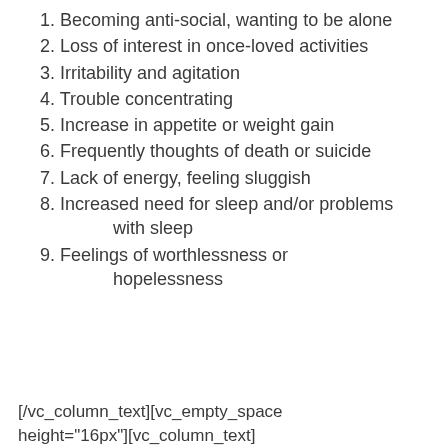1. Becoming anti-social, wanting to be alone
2. Loss of interest in once-loved activities
3. Irritability and agitation
4. Trouble concentrating
5. Increase in appetite or weight gain
6. Frequently thoughts of death or suicide
7. Lack of energy, feeling sluggish
8. Increased need for sleep and/or problems with sleep
9. Feelings of worthlessness or hopelessness
[/vc_column_text][vc_empty_space height="16px"][vc_column_text]